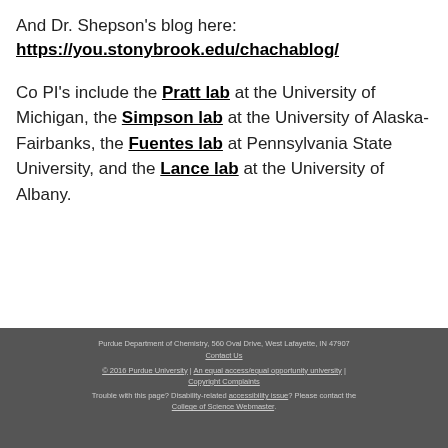And Dr. Shepson's blog here:
https://you.stonybrook.edu/chachablog/
Co PI's include the Pratt lab at the University of Michigan, the Simpson lab at the University of Alaska-Fairbanks, the Fuentes lab at Pennsylvania State University, and the Lance lab at the University of Albany.
Purdue Department of Chemistry, 560 Oval Drive, West Lafayette, IN 47907
Contact Us
© 2016 Purdue University | An equal access/equal opportunity university | Copyright Complaints
Trouble with this page? Disability-related accessibility issue? Please contact the College of Science Webmaster.